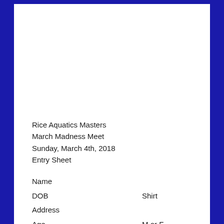Rice Aquatics Masters
March Madness Meet
Sunday, March 4th, 2018
Entry Sheet
Name
DOB    Shirt
Address
Age    M or F
City
State    Zip